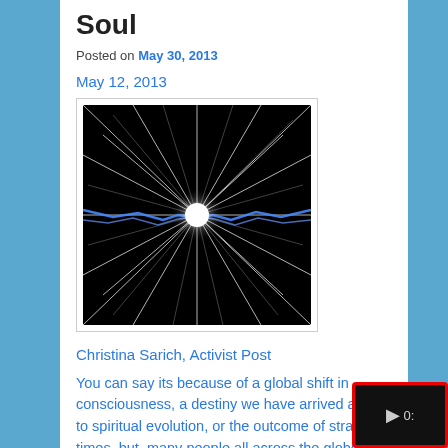Soul
Posted on May 30, 2013
May 12, 2013
[Figure (photo): Bright white starburst light explosion with blue lightning bolts radiating outward on a black background]
Christina Sarich, Activist Post
You can say its because of a global shift in consciousness, a destiny we have arrived at due to spiritual evolution, or the outcome of strange times, but, many people all across the globe are going through